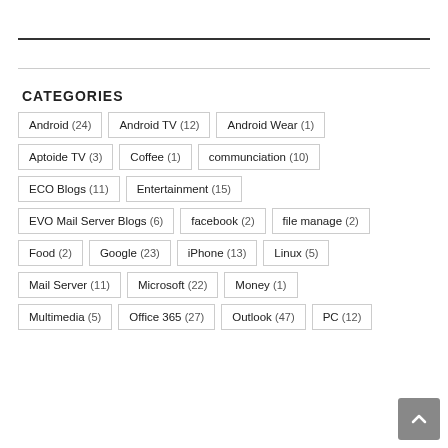CATEGORIES
Android (24)
Android TV (12)
Android Wear (1)
Aptoide TV (3)
Coffee (1)
communciation (10)
ECO Blogs (11)
Entertainment (15)
EVO Mail Server Blogs (6)
facebook (2)
file manage (2)
Food (2)
Google (23)
iPhone (13)
Linux (5)
Mail Server (11)
Microsoft (22)
Money (1)
Multimedia (5)
Office 365 (27)
Outlook (47)
PC (12)